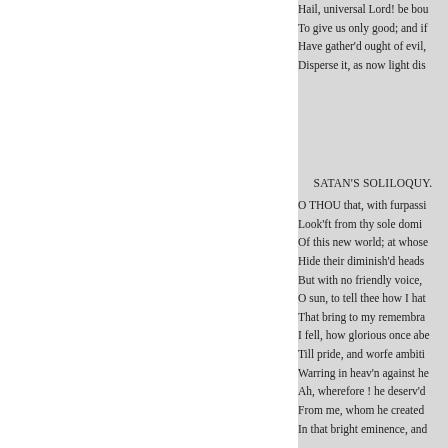Hail, universal Lord! be bou
To give us only good; and if
Have gather'd ought of evil,
Disperse it, as now light dis
SATAN'S SOLILOQUY.
O THOU that, with furpassi
Look'ft from thy sole domi
Of this new world; at whose
Hide their diminish'd heads
But with no friendly voice,
O sun, to tell thee how I hat
That bring to my remembra
I fell, how glorious once abe
Till pride, and worfe ambiti
Warring in heav'n against he
Ah, wherefore ! he deserv'd
From me, whom he created
In that bright eminence, and